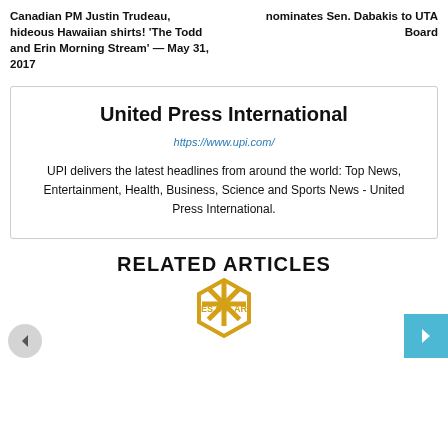Canadian PM Justin Trudeau, hideous Hawaiian shirts! ‘The Todd and Erin Morning Stream’ — May 31, 2017
nominates Sen. Dabakis to UTA Board
United Press International
https://www.upi.com/
UPI delivers the latest headlines from around the world: Top News, Entertainment, Health, Business, Science and Sports News - United Press International.
RELATED ARTICLES
[Figure (logo): ES Solar logo with asterisk/star symbol in yellow/gold]